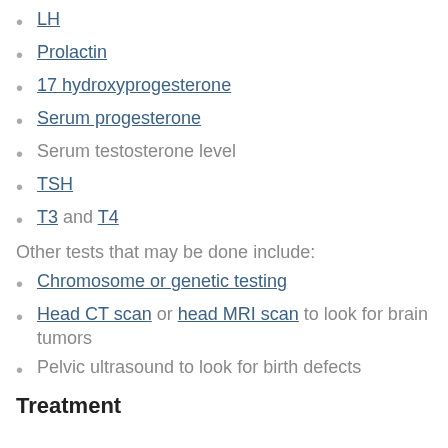LH
Prolactin
17 hydroxyprogesterone
Serum progesterone
Serum testosterone level
TSH
T3 and T4
Other tests that may be done include:
Chromosome or genetic testing
Head CT scan or head MRI scan to look for brain tumors
Pelvic ultrasound to look for birth defects
Treatment